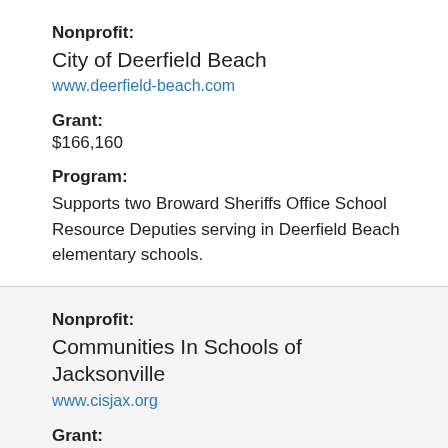Nonprofit: City of Deerfield Beach www.deerfield-beach.com
Grant: $166,160
Program: Supports two Broward Sheriffs Office School Resource Deputies serving in Deerfield Beach elementary schools.
Nonprofit: Communities In Schools of Jacksonville www.cisjax.org
Grant: $174,000
Program: